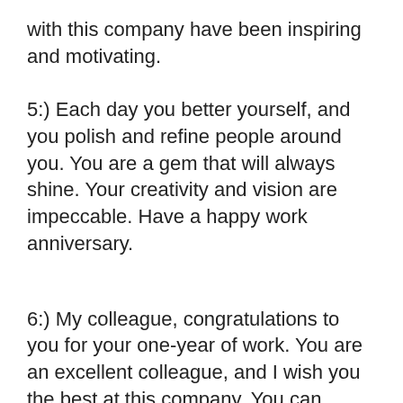with this company have been inspiring and motivating.
5:) Each day you better yourself, and you polish and refine people around you. You are a gem that will always shine. Your creativity and vision are impeccable. Have a happy work anniversary.
6:) My colleague, congratulations to you for your one-year of work. You are an excellent colleague, and I wish you the best at this company. You can always count on me.
7:) We have all seen you pursue your dreams, reach out for the best in things and